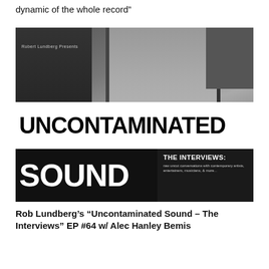dynamic of the whole record”
[Figure (photo): Black and white promotional image for 'Uncontaminated Sound – The Interviews' podcast by Robert Lundberg. Shows a dark interior scene with shelves and a door. Large bold text reads 'UNCONTAMINATED' on a white banner and 'SOUND' on a black banner. A sidebar box reads 'THE INTERVIEWS: raw uncut conversations with contemporary artists, entertainers, musicians, & more...']
Rob Lundberg’s “Uncontaminated Sound – The Interviews” EP #64 w/ Alec Hanley Bemis